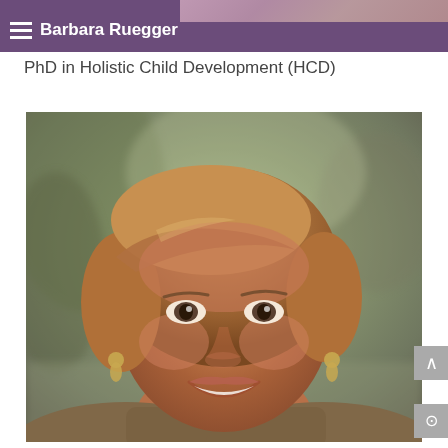Barbara Ruegger
PhD in Holistic Child Development (HCD)
[Figure (photo): Portrait photograph of Barbara Ruegger, a woman with short auburn/blonde hair, smiling warmly, wearing earrings, with a blurred outdoor background.]